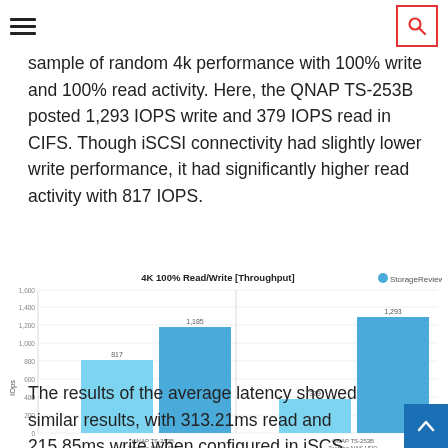sample of random 4k performance with 100% write and 100% read activity. Here, the QNAP TS-253B posted 1,293 IOPS write and 379 IOPS read in CIFS. Though iSCSI connectivity had slightly lower write performance, it had significantly higher read activity with 817 IOPS.
[Figure (grouped-bar-chart): 4K 100% Read/Write [Throughput]]
The results of the average latency showed similar results, with 313.21ms read and 215.85ms write when configured in iSCS